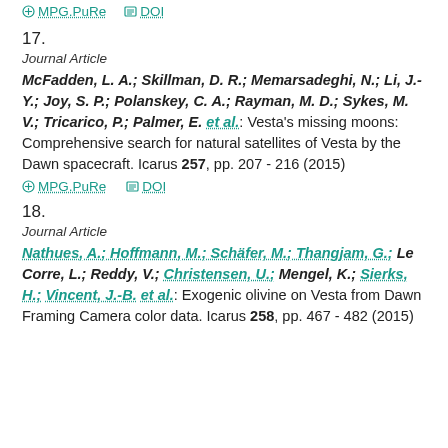MPG.PuRe  DOI
17.
Journal Article
McFadden, L. A.; Skillman, D. R.; Memarsadeghi, N.; Li, J.-Y.; Joy, S. P.; Polanskey, C. A.; Rayman, M. D.; Sykes, M. V.; Tricarico, P.; Palmer, E. et al.: Vesta's missing moons: Comprehensive search for natural satellites of Vesta by the Dawn spacecraft. Icarus 257, pp. 207 - 216 (2015)
MPG.PuRe  DOI
18.
Journal Article
Nathues, A.; Hoffmann, M.; Schäfer, M.; Thangjam, G.; Le Corre, L.; Reddy, V.; Christensen, U.; Mengel, K.; Sierks, H.; Vincent, J.-B. et al.: Exogenic olivine on Vesta from Dawn Framing Camera color data. Icarus 258, pp. 467 - 482 (2015)